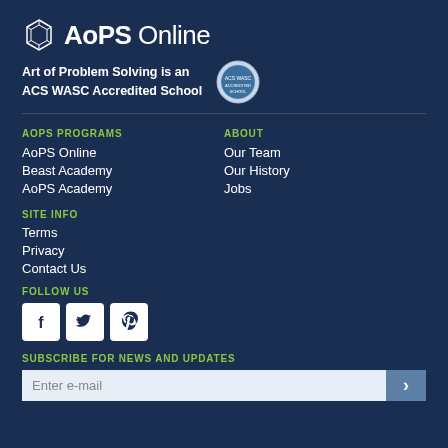[Figure (logo): AoPS Online logo with hexagonal icon and bold text 'AoPS Online']
Art of Problem Solving is an ACS WASC Accredited School
AOPS PROGRAMS
AoPS Online
Beast Academy
AoPS Academy
ABOUT
Our Team
Our History
Jobs
SITE INFO
Terms
Privacy
Contact Us
FOLLOW US
[Figure (infographic): Social media icons: Facebook, Twitter, Pinterest]
SUBSCRIBE FOR NEWS AND UPDATES
Enter e-mail